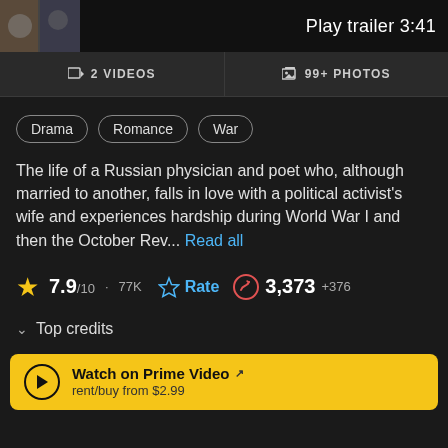[Figure (screenshot): Movie thumbnail image in top-left corner]
Play trailer 3:41
2 VIDEOS
99+ PHOTOS
Drama
Romance
War
The life of a Russian physician and poet who, although married to another, falls in love with a political activist's wife and experiences hardship during World War I and then the October Rev... Read all
7.9/10 · 77K  Rate  3,373 +376
Top credits
Watch on Prime Video
rent/buy from $2.99